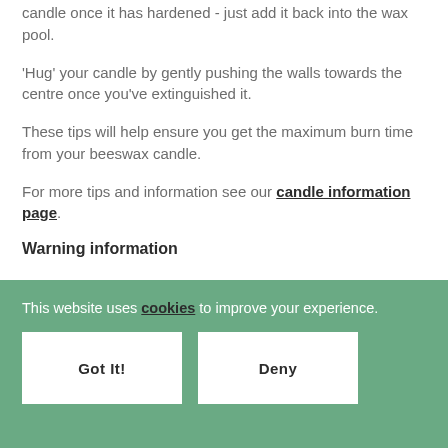candle once it has hardened - just add it back into the wax pool.
'Hug' your candle by gently pushing the walls towards the centre once you've extinguished it.
These tips will help ensure you get the maximum burn time from your beeswax candle.
For more tips and information see our candle information page.
Warning information
This website uses cookies to improve your experience.
Got It!
Deny